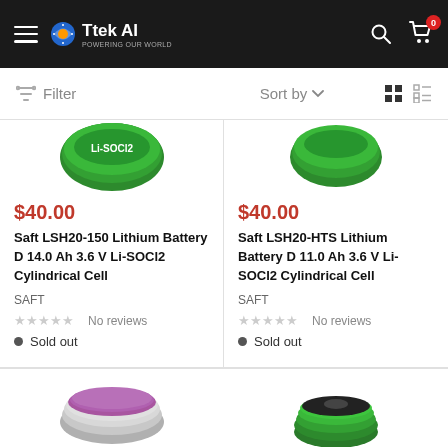Ttek AI — navigation header with hamburger menu, logo, search icon, and cart (0)
Filter   Sort by   (grid/list view icons)
[Figure (photo): Green Li-SOCl2 cylindrical battery cell top view (partially cropped)]
$40.00
Saft LSH20-150 Lithium Battery D 14.0 Ah 3.6 V Li-SOCl2 Cylindrical Cell
SAFT
★★★★★ No reviews
● Sold out
[Figure (photo): Green Li-SOCl2 cylindrical battery cell top view (partially cropped)]
$40.00
Saft LSH20-HTS Lithium Battery D 11.0 Ah 3.6 V Li-SOCl2 Cylindrical Cell
SAFT
★★★★★ No reviews
● Sold out
[Figure (photo): Silver/purple round battery coin cell (partially cropped at bottom)]
[Figure (photo): Green cylindrical battery top (partially cropped at bottom)]